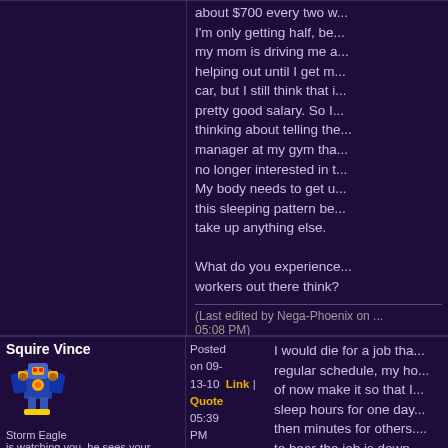about $700 every two w... I'm only getting half, be... my mom is driving me a... helping out until I get m... car, but I still think that i... pretty good salary. So I... thinking about telling the... manager at my gym tha... no longer interested in t... My body needs to get u... this sleeping pattern be... take up anything else.

What do you experience... workers out there think?
(Last edited by Nega-Phoenix on ... 05:08 PM)
Squire Vince
[Figure (illustration): Pixel art sprite of Storm Eagle character from Mega Man X]
Storm Eagle
is watching you, he sees your every move.
Level:
Posts:1286/1586
Posted on 09-13-10   Link | Quote   05:39 PM
I would die for a job tha... regular schedule, my ho... of now make it so that I... sleep hours for one day... then minutes for others.... to hear the job is down... always feels good havin... money. *greedy* heh...